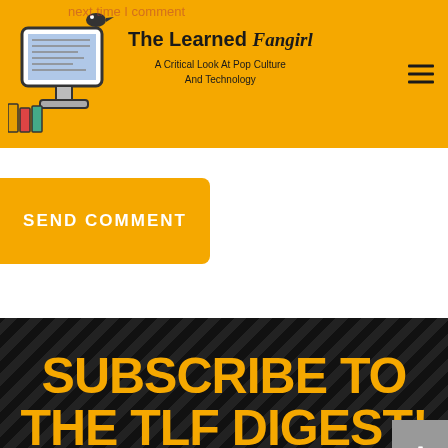The Learned Fangirl — A Critical Look At Pop Culture And Technology
next time I comment
SEND COMMENT
SUBSCRIBE TO THE TLF DIGEST!
Enter your email address